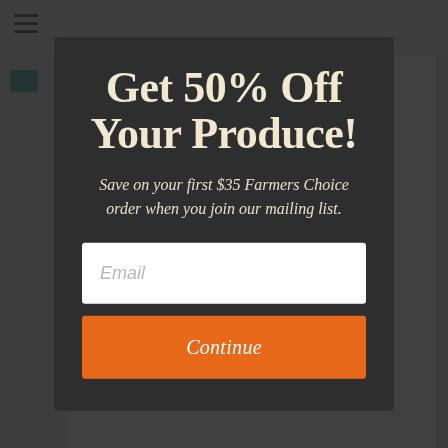[Figure (screenshot): A modal popup overlay on a webpage background. The modal has a dark background (#2e2e2e) and contains a promotional offer.]
Get 50% Off Your Produce!
Save on your first $35 Farmers Choice order when you join our mailing list.
Email (input field placeholder)
Continue (button)